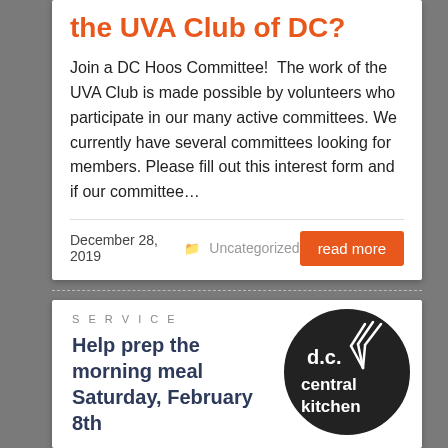the UVA Club of DC?
Join a DC Hoos Committee!  The work of the UVA Club is made possible by volunteers who participate in our many active committees. We currently have several committees looking for members. Please fill out this interest form and if our committee…
December 28, 2019   Uncategorized   read more
SERVICE
Help prep the morning meal Saturday, February 8th
[Figure (logo): DC Central Kitchen circular logo with fork graphic, white text on dark background]